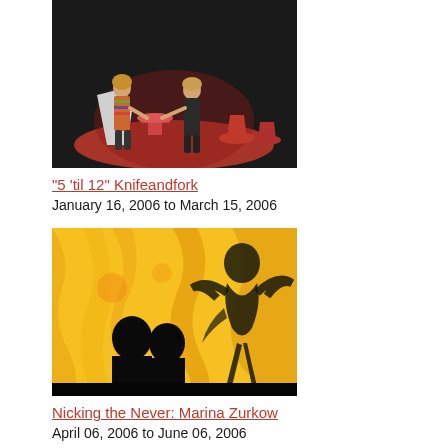[Figure (photo): Two people sitting on angular white chairs on a stage with a red circular floor element and red funnel-shaped objects]
"5 'til 12" Knifeandfork
January 16, 2006 to March 15, 2006
[Figure (photo): Silhouettes of people against a colorful yellow and orange projected background with shadow puppet figures]
Nicking the Never: Marina Zurkow
April 06, 2006 to June 06, 2006